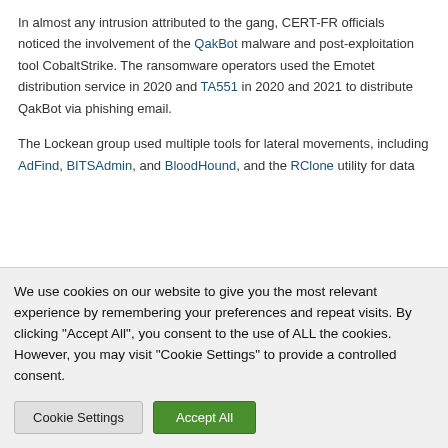In almost any intrusion attributed to the gang, CERT-FR officials noticed the involvement of the QakBot malware and post-exploitation tool CobaltStrike. The ransomware operators used the Emotet distribution service in 2020 and TA551 in 2020 and 2021 to distribute QakBot via phishing email.
The Lockean group used multiple tools for lateral movements, including AdFind, BITSAdmin, and BloodHound, and the RClone utility for data...
We use cookies on our website to give you the most relevant experience by remembering your preferences and repeat visits. By clicking "Accept All", you consent to the use of ALL the cookies. However, you may visit "Cookie Settings" to provide a controlled consent.